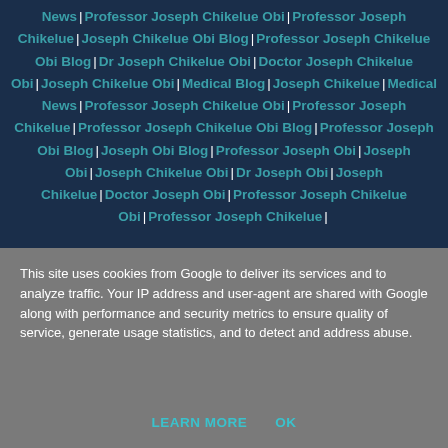News | Professor Joseph Chikelue Obi | Professor Joseph Chikelue | Joseph Chikelue Obi Blog | Professor Joseph Chikelue Obi Blog | Dr Joseph Chikelue Obi | Doctor Joseph Chikelue Obi | Joseph Chikelue Obi | Medical Blog | Joseph Chikelue | Medical News | Professor Joseph Chikelue Obi | Professor Joseph Chikelue | Professor Joseph Chikelue Obi Blog | Professor Joseph Obi Blog | Joseph Obi Blog | Professor Joseph Obi | Joseph Obi | Joseph Chikelue Obi | Dr Joseph Obi | Joseph Chikelue | Doctor Joseph Obi | Professor Joseph Chikelue Obi | Professor Joseph Chikelue
This site uses cookies from Google to deliver its services and to analyze traffic. Your IP address and user-agent are shared with Google along with performance and security metrics to ensure quality of service, generate usage statistics, and to detect and address abuse.
LEARN MORE    OK